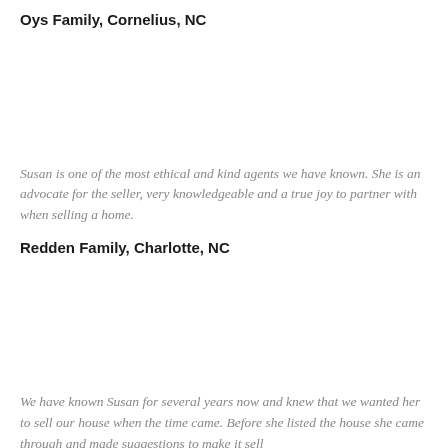Oys Family, Cornelius, NC
Susan is one of the most ethical and kind agents we have known. She is an advocate for the seller, very knowledgeable and a true joy to partner with when selling a home.
Redden Family, Charlotte, NC
We have known Susan for several years now and knew that we wanted her to sell our house when the time came. Before she listed the house she came through and made suggestions to make it sell faster to help sell. She has excellent customer service skills, but